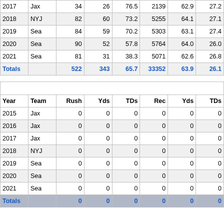| Year | Team | Att | Cmp | Pct | Yds | Pct2 | Avg |
| --- | --- | --- | --- | --- | --- | --- | --- |
| 2017 | Jax | 34 | 26 | 76.5 | 2139 | 62.9 | 27.2 |
| 2018 | NYJ | 82 | 60 | 73.2 | 5255 | 64.1 | 27.1 |
| 2019 | Sea | 84 | 59 | 70.2 | 5303 | 63.1 | 27.4 |
| 2020 | Sea | 90 | 52 | 57.8 | 5764 | 64.0 | 26.0 |
| 2021 | Sea | 81 | 31 | 38.3 | 5071 | 62.6 | 26.8 |
| Totals |  | 522 | 343 | 65.7 | 33352 | 63.9 | 26.1 |
| Year | Team | Rush | Yds | TDs | Rec | Yds | TDs |
| --- | --- | --- | --- | --- | --- | --- | --- |
| 2015 | Jax | 0 | 0 | 0 | 0 | 0 | 0 |
| 2016 | Jax | 0 | 0 | 0 | 0 | 0 | 0 |
| 2017 | Jax | 0 | 0 | 0 | 0 | 0 | 0 |
| 2018 | NYJ | 0 | 0 | 0 | 0 | 0 | 0 |
| 2019 | Sea | 0 | 0 | 0 | 0 | 0 | 0 |
| 2020 | Sea | 0 | 0 | 0 | 0 | 0 | 0 |
| 2021 | Sea | 0 | 0 | 0 | 0 | 0 | 0 |
| Totals |  | 0 | 0 | 0 | 0 | 0 | 0 |